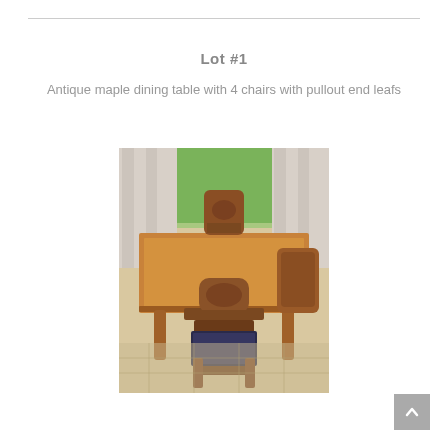Lot #1
Antique maple dining table with 4 chairs with pullout end leafs
[Figure (photo): Photo of an antique maple dining table with chairs in a dining room setting. The table is wooden with a warm honey/maple finish. Several chairs with upholstered seats surround the table. A window with curtains is visible in the background showing greenery outside.]